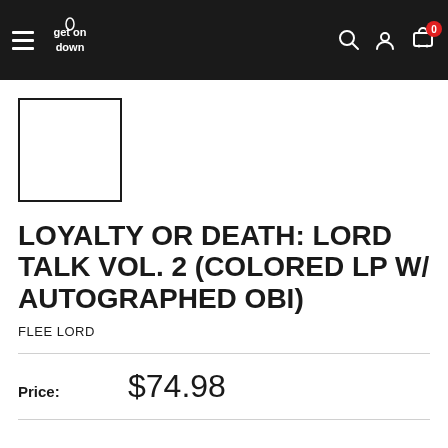get on down — navigation header with hamburger menu, logo, search, account, and cart icons (0 items)
[Figure (other): White product image placeholder box with black border]
LOYALTY OR DEATH: LORD TALK VOL. 2 (COLORED LP W/ AUTOGRAPHED OBI)
FLEE LORD
Price:  $74.98